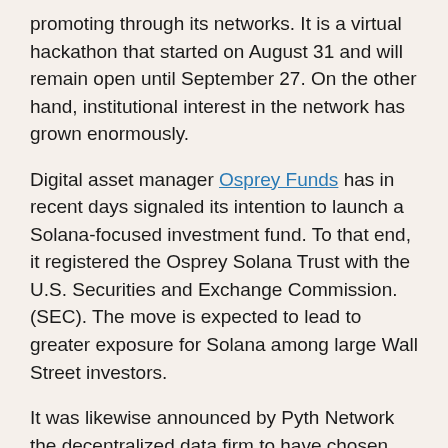promoting through its networks. It is a virtual hackathon that started on August 31 and will remain open until September 27. On the other hand, institutional interest in the network has grown enormously.
Digital asset manager Osprey Funds has in recent days signaled its intention to launch a Solana-focused investment fund. To that end, it registered the Osprey Solana Trust with the U.S. Securities and Exchange Commission. (SEC). The move is expected to lead to greater exposure for Solana among large Wall Street investors.
It was likewise announced by Pyth Network the decentralized data firm to have chosen Solana's blockchain to launch its solutions. The project seeks to track real-time market performance and integrate with DeFi applications via Solana's Wormholes Blockchain.
Solana has announced A35 DeFi and NFT lending content...